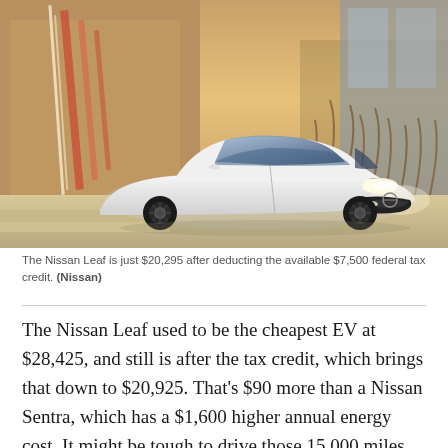[Figure (photo): A white Nissan Leaf electric vehicle parked on a driveway in front of a modern house at dusk, with warm lighting and ornamental grasses in the background.]
The Nissan Leaf is just $20,295 after deducting the available $7,500 federal tax credit. (Nissan)
The Nissan Leaf used to be the cheapest EV at $28,425, and still is after the tax credit, which brings that down to $20,925. That's $90 more than a Nissan Sentra, which has a $1,600 higher annual energy cost. It might be tough to drive those 15,000 miles per year in the